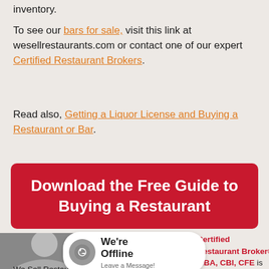inventory.
To see our bars for sale, visit this link at wesellrestaurants.com or contact one of our expert Certified Restaurant Brokers.
Read also, Getting a Liquor License and Buying a Restaurant or Bar.
[Figure (infographic): Red button banner: Download the Free Guide to Buying a Restaurant]
[Figure (infographic): We're Offline Leave a Message chat bubble with fork and knife icon, overlaid on a black and white photo of a woman. Text: Certified Restaurant Broker®, MBA, CBI, CFE is the co-founder of We Sell Restaurants and]